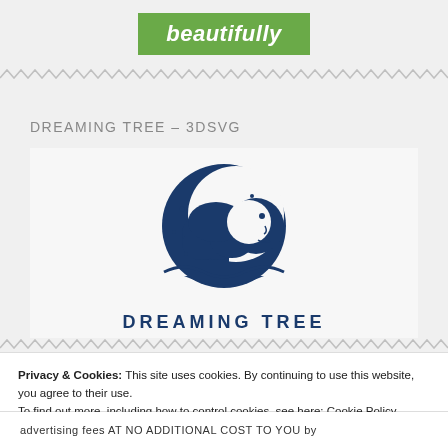[Figure (logo): Green banner logo with italic white text reading 'beautifully']
DREAMING TREE – 3DSVG
[Figure (logo): Dreaming Tree logo: dark blue circular icon with tree and moon/face imagery, with 'DREAMING TREE' text below]
Privacy & Cookies: This site uses cookies. By continuing to use this website, you agree to their use.
To find out more, including how to control cookies, see here: Cookie Policy
Close and accept
advertising fees AT NO ADDITIONAL COST TO YOU by